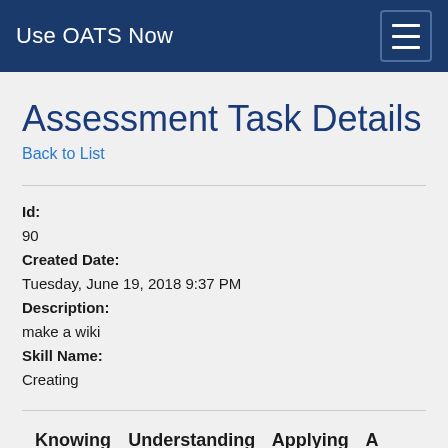Use OATS Now
Assessment Task Details
Back to List
Id:
90
Created Date:
Tuesday, June 19, 2018 9:37 PM
Description:
make a wiki
Skill Name:
Creating
| Knowing Skills | Understanding Skills | Applying Skills | A S |
| --- | --- | --- | --- |